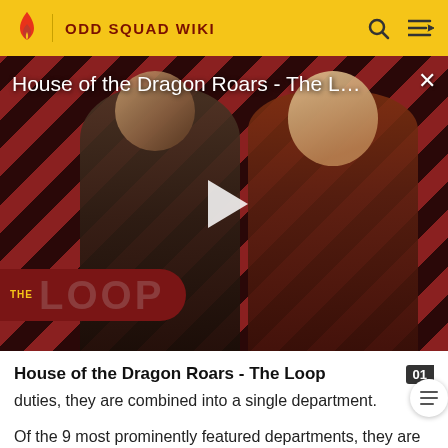ODD SQUAD WIKI
[Figure (screenshot): Video thumbnail for 'House of the Dragon Roars - The Loop' showing two characters against a red and black diagonal striped background, with THE LOOP logo in the lower left and a play button in the center]
House of the Dragon Roars - The Loop
duties, they are combined into a single department.
Of the 9 most prominently featured departments, they are ranked eighth, below all other departments except for